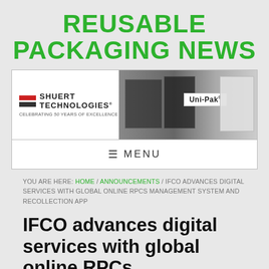REUSABLE PACKAGING NEWS
[Figure (photo): Shuert Technologies banner ad showing company logo with red and dark bars, 'CELEBRATING 50 YEARS OF EXCELLENCE' tagline, industrial packaging photo with Uni-Pak white containers in the background]
MENU
YOU ARE HERE: HOME / ANNOUNCEMENTS / IFCO ADVANCES DIGITAL SERVICES WITH GLOBAL ONLINE RPCS MANAGEMENT SYSTEM AND RECOLLECTION APP
IFCO advances digital services with global online RPCs management system and recollection